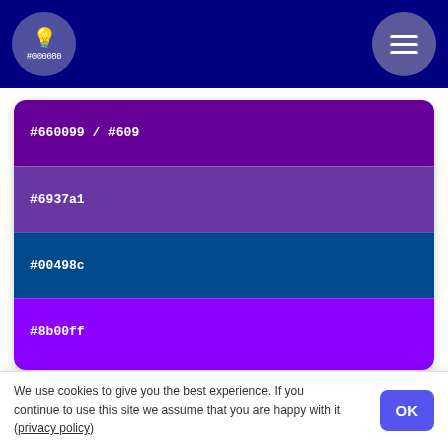#000080 logo header with hamburger menu
[Figure (infographic): Color swatch card with four swatches: #660099/#609 (purple), #6937a1 (muted purple), #00498c (teal-blue), #8b00ff (bright violet)]
관련 색상
[Figure (infographic): Color swatch card with two swatches: #964b00 (brown), teal swatch below]
We use cookies to give you the best experience. If you continue to use this site we assume that you are happy with it (privacy policy)